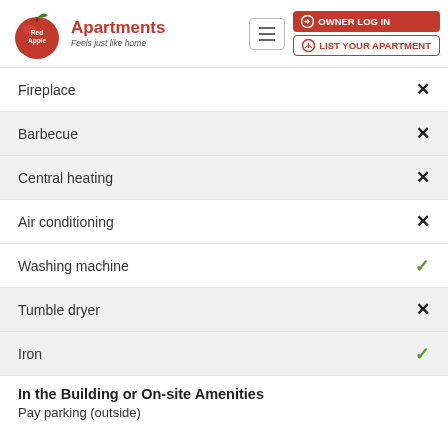Red Apple Apartments — Feels just like home | OWNER LOG IN | LIST YOUR APARTMENT
Fireplace — ✗
Barbecue — ✗
Central heating — ✗
Air conditioning — ✗
Washing machine — ✓
Tumble dryer — ✗
Iron — ✓
In the Building or On-site Amenities
Pay parking (outside)